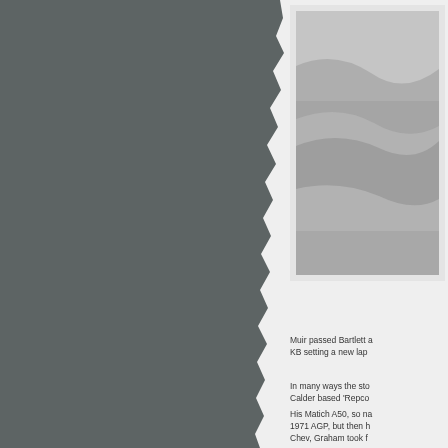[Figure (photo): Partially visible black and white photograph at top right, showing a gray textured scene, cropped]
Muir passed Bartlett a KB setting a new lap
In many ways the sto Calder based 'Repco
His Matich A50, so na 1971 AGP, but then h Chev, Graham took f
[Figure (photo): Partially visible black and white photograph at bottom right, showing trees against a light sky, cropped at bottom of page]